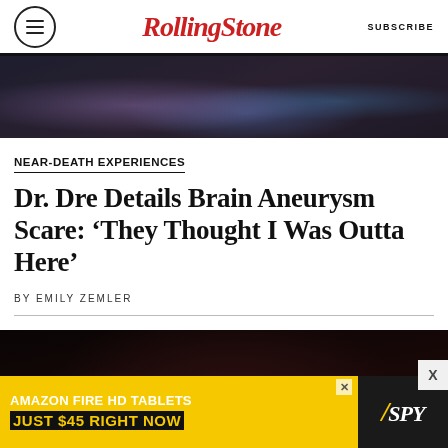RollingStone  SUBSCRIBE
[Figure (photo): Top partial photo strip showing a performer on stage with colorful bokeh lights in the background]
NEAR-DEATH EXPERIENCES
Dr. Dre Details Brain Aneurysm Scare: ‘They Thought I Was Outta Here’
BY EMILY ZEMLER
[Figure (photo): Dr. Dre wearing sunglasses at a dimly lit event venue with crowd and warm orange/red lighting in the background]
[Figure (infographic): Advertisement banner: AMAZON FIRE HD TABLETS JUST $45 RIGHT NOW with SPY logo]